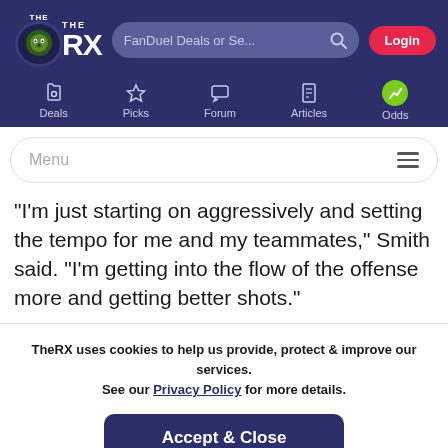TheRX - FanDuel Deals or Search - Login - Deals, Picks, Forum, Articles, Odds
Menu
'I'm just starting on aggressively and setting the tempo for me and my teammates,' Smith said. 'I'm getting into the flow of the offense more and getting better shots.'
TheRX uses cookies to help us provide, protect & improve our services. See our Privacy Policy for more details.
Accept & Close